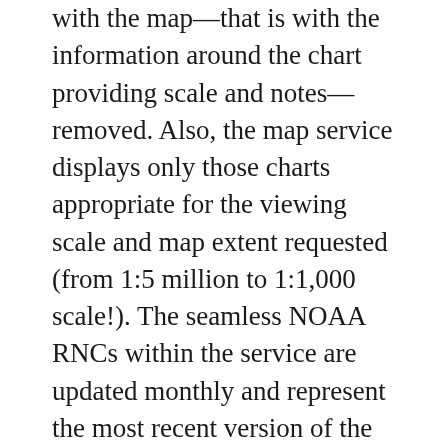with the map—that is with the information around the chart providing scale and notes—removed. Also, the map service displays only those charts appropriate for the viewing scale and map extent requested (from 1:5 million to 1:1,000 scale!). The seamless NOAA RNCs within the service are updated monthly and represent the most recent version of the RNCs and their respective Notice to Mariners at the time of the update.
The trial has been a great success and we are now busy rolling out the new service to use in our Boat Beacon, SeaNav and Boat Watch apps via a simple In App Purchase. This gives our customers access to all 2,100 charts including all updates. The charts for a region